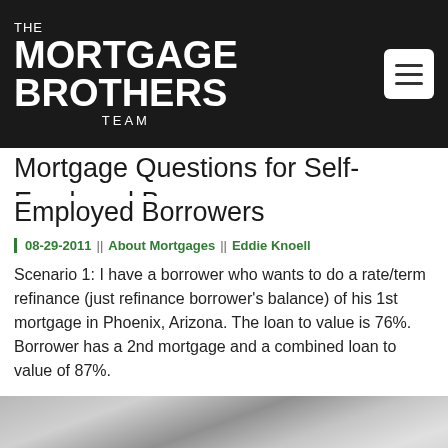THE MORTGAGE BROTHERS TEAM
Mortgage Questions for Self-Employed Borrowers
08-29-2011 || About Mortgages || Eddie Knoell
Scenario 1: I have a borrower who wants to do a rate/term refinance (just refinance borrower's balance) of his 1st mortgage in Phoenix, Arizona. The loan to value is 76%. Borrower has a 2nd mortgage and a combined loan to value of 87%.
READ MORE
[Figure (photo): Partial image strip at bottom of page, appears to be a photo related to mortgages or real estate]